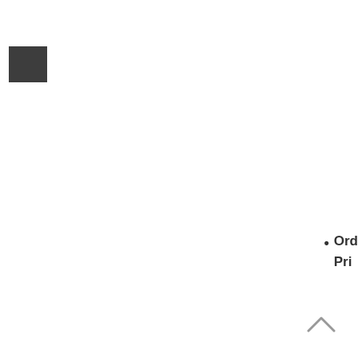[Figure (other): Dark charcoal/dark gray filled square shape, partially visible at top-left corner of the page]
Ord Pri